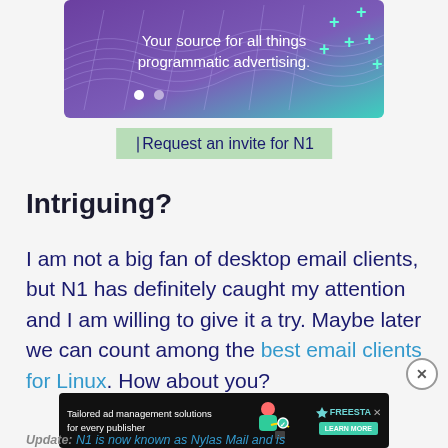[Figure (infographic): Banner advertisement with purple-to-teal gradient background, abstract grid/wave design, plus symbols, and text: 'Your source for all things programmatic advertising.' with two white dots indicating carousel position.]
Request an invite for N1
Intriguing?
I am not a big fan of desktop email clients, but N1 has definitely caught my attention and I am willing to give it a try. Maybe later we can count among the best email clients for Linux. How about you?
[Figure (infographic): Dark advertisement banner: 'Tailored ad management solutions for every publisher' with animated character illustration and FREESTA logo with LEARN MORE button.]
Update: N1 is now known as Nylas Mail and is